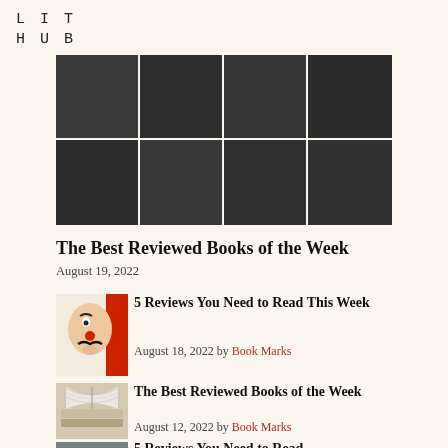LIT
HUB
[Figure (illustration): Dark checkerboard-style grid image with dark gray squares arranged in a 4x2 pattern]
The Best Reviewed Books of the Week
August 19, 2022
[Figure (illustration): Illustrated face/mask with stylized features, red nose, mustache on light background]
5 Reviews You Need to Read This Week
August 18, 2022 by Book Marks
[Figure (photo): Photo of stacked open books viewed from side]
The Best Reviewed Books of the Week
August 12, 2022 by Book Marks
[Figure (photo): Partial photo, person or figure, cut off at bottom of page]
5 Reviews You Need to Read...